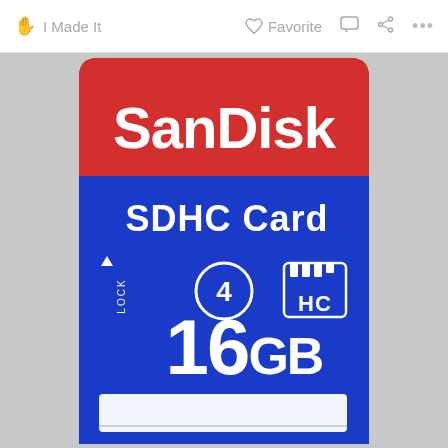✋ I Made It   ♥ Favorite 💬 🔗 ...
[Figure (photo): A SanDisk SDHC Card 16GB (Class 4) SD memory card photographed from the front. The card has a blue body with a red top section. The red section shows 'SanDisk' in large white letters. The blue section shows 'SDHC Card' text, a Class 4 circle symbol, a SD HC logo, '16GB' in large white text, and a white label area at the bottom.]